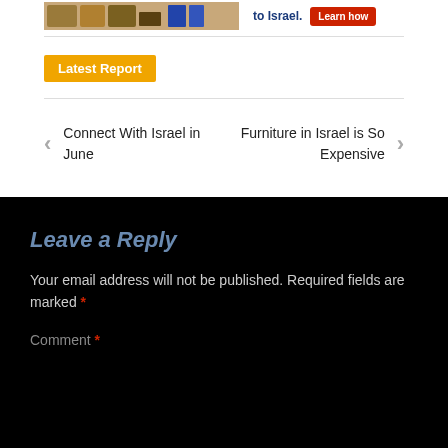[Figure (photo): Partial advertisement image showing warehouse/boxes scene and text 'to Israel.' with a red 'Learn how' button]
Latest Report
Connect With Israel in June
Furniture in Israel is So Expensive
Leave a Reply
Your email address will not be published. Required fields are marked *
Comment *